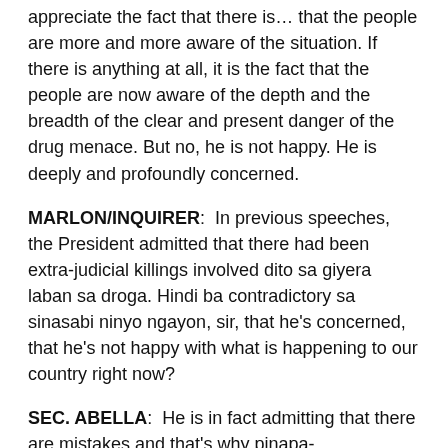appreciate the fact that there is… that the people are more and more aware of the situation. If there is anything at all, it is the fact that the people are now aware of the depth and the breadth of the clear and present danger of the drug menace. But no, he is not happy. He is deeply and profoundly concerned.
MARLON/INQUIRER:  In previous speeches, the President admitted that there had been extra-judicial killings involved dito sa giyera laban sa droga. Hindi ba contradictory sa sinasabi ninyo ngayon, sir, that he's concerned, that he's not happy with what is happening to our country right now?
SEC. ABELLA:  He is in fact admitting that there are mistakes and that's why pinapa-imbestigahan. And I'm sure he is not happy about that.